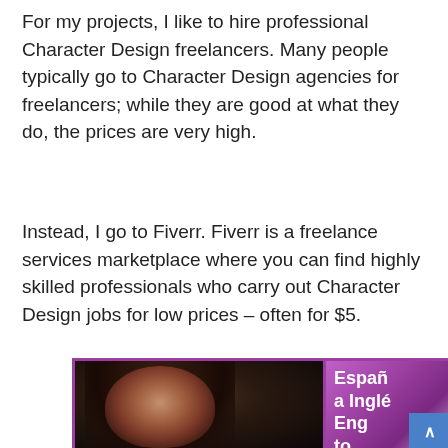For my projects, I like to hire professional Character Design freelancers. Many people typically go to Character Design agencies for freelancers; while they are good at what they do, the prices are very high.
Instead, I go to Fiverr. Fiverr is a freelance services marketplace where you can find highly skilled professionals who carry out Character Design jobs for low prices – often for $5.
[Figure (screenshot): Screenshot of a Fiverr profile page showing a young woman's photo on the left and a purple sidebar with text 'Español a Inglés' and 'Eng to Spanis' partially visible, with a blue scroll-to-top button.]